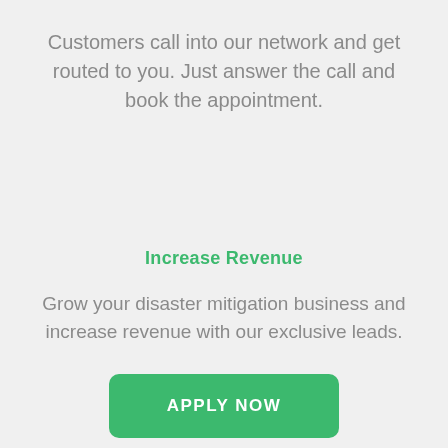Customers call into our network and get routed to you. Just answer the call and book the appointment.
Increase Revenue
Grow your disaster mitigation business and increase revenue with our exclusive leads.
APPLY NOW